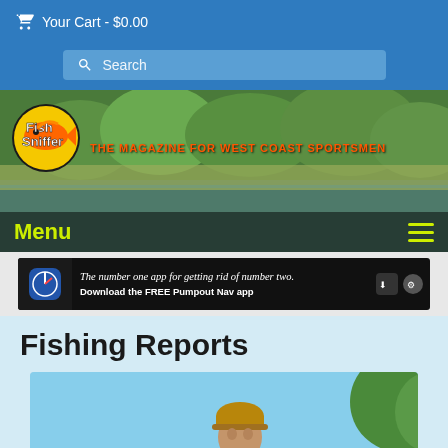Your Cart - $0.00
Search
[Figure (screenshot): Fish Sniffer website header banner showing a lake and forest background with Fish Sniffer logo and tagline 'The Magazine For West Coast Sportsmen']
Menu
[Figure (infographic): Advertisement banner: 'The number one app for getting rid of number two. Download the FREE Pumpout Nav app']
Fishing Reports
[Figure (photo): Photo of a person wearing a brown/tan beanie hat outdoors with trees and blue sky in background]